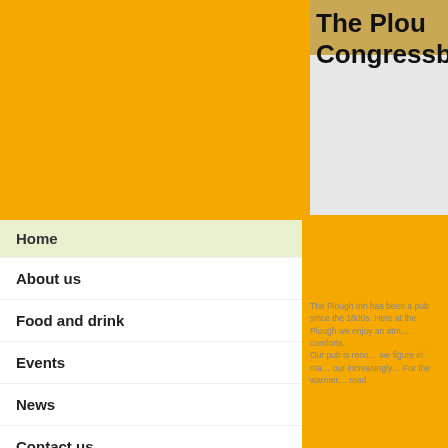The Plough Inn, Congresbury
[Figure (photo): Header image with wheat/field background behind the pub title]
Home
About us
Food and drink
Events
News
Contact us
The Plough Inn has been a pub since the 1800s. Here at the Plough we enjoy an atmosphere of traditional comforts. Our pub is renowned for its quality, we figure in many guides and our increasingly popular food is our increasingly popular road. For the warmer months we have a large garden with a beautiful road.